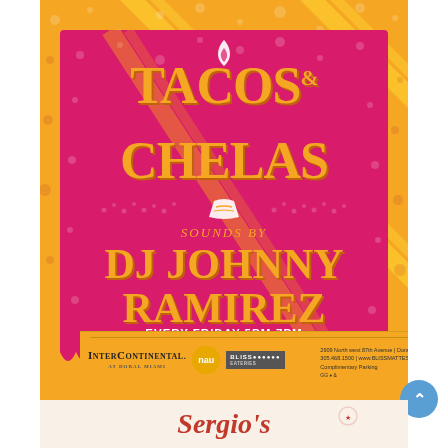[Figure (illustration): Event flyer for Tacos & Chelas party at InterContinental Doral Miami. Orange/yellow background with pink/magenta center card featuring decorative diagonal stripes and water drop texture. Flame logo at top. Large orange text reads TACOS & CHELAS. Taco graphic with decorative dots in center. Text reads SOUNDS BY / DJ JOHNNY RAMIREZ / EVERY FRIDAY 5PM-7PM / $6 TACOS / $6 LOCAL CRAFT BEER. Scalloped bottom edge on pink card. Footer shows InterContinental, NAU, and Bliss logos with address.]
TACOS & CHELAS
SOUNDS BY
DJ JOHNNY RAMIREZ
EVERY FRIDAY 5PM-7PM
$6 TACOS / $6 LOCAL CRAFT BEER
2909 Northwest 87th Avenue | Doral, FL 33172
305.468.1500 | www.BLISSMATTESDORAL.com
Complimentary Parking
[Figure (logo): Sergio's cursive logo in red on cream background at bottom of page]